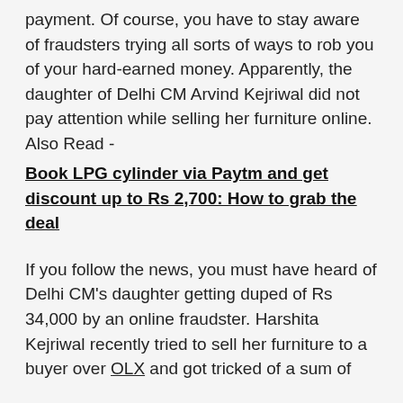payment. Of course, you have to stay aware of fraudsters trying all sorts of ways to rob you of your hard-earned money. Apparently, the daughter of Delhi CM Arvind Kejriwal did not pay attention while selling her furniture online. Also Read -
Book LPG cylinder via Paytm and get discount up to Rs 2,700: How to grab the deal
If you follow the news, you must have heard of Delhi CM's daughter getting duped of Rs 34,000 by an online fraudster. Harshita Kejriwal recently tried to sell her furniture to a buyer over OLX and got tricked of a sum of
Rs 34,000. The police are already investigating the case and we hope she gets justice. Also Read -
Best online gaming platforms to play multiple games: Paytm First Games, PlayerzPot and more